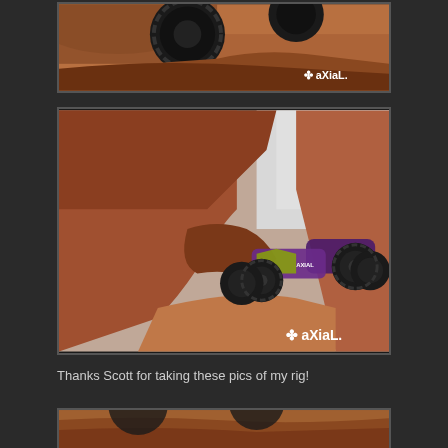[Figure (photo): RC rock crawler vehicle close-up on red sandstone rocks with Axial logo watermark in bottom right]
[Figure (photo): RC monster truck (purple with yellow/green accents, Axial branding) navigating through a tight red rock canyon slot, Axial logo watermark in bottom right]
Thanks Scott for taking these pics of my rig!
[Figure (photo): Partial view of RC vehicle on red sandstone rocks, cropped at bottom of page]